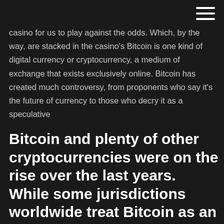hamburger menu icon
casino for us to play against the odds. Which, by the way, are stacked in the casino's Bitcoin is one kind of digital currency or cryptocurrency, a medium of exchange that exists exclusively online. Bitcoin has created much controversy, from proponents who say it's the future of currency to those who decry it as a speculative
Bitcoin and plenty of other cryptocurrencies were on the rise over the last years. While some jurisdictions worldwide treat Bitcoin as an asset, others are still defining what cryptocurrencies are. For regular